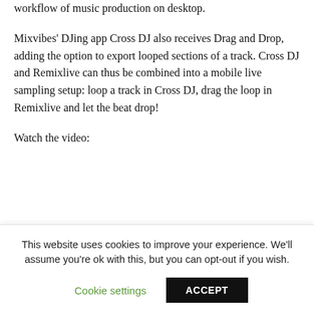dragged directly into the grid, replicating the standard workflow of music production on desktop.
Mixvibes' DJing app Cross DJ also receives Drag and Drop, adding the option to export looped sections of a track. Cross DJ and Remixlive can thus be combined into a mobile live sampling setup: loop a track in Cross DJ, drag the loop in Remixlive and let the beat drop!
Watch the video:
This website uses cookies to improve your experience. We'll assume you're ok with this, but you can opt-out if you wish.
Cookie settings
ACCEPT